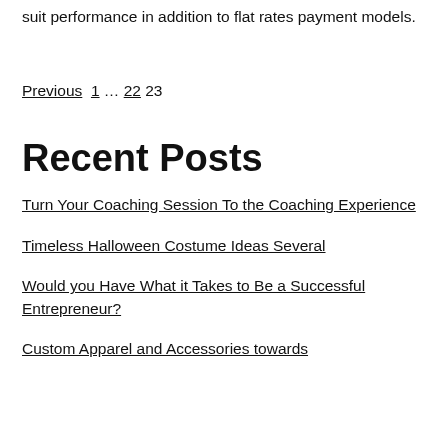suit performance in addition to flat rates payment models.
Previous 1 … 22 23
Recent Posts
Turn Your Coaching Session To the Coaching Experience
Timeless Halloween Costume Ideas Several
Would you Have What it Takes to Be a Successful Entrepreneur?
Custom Apparel and Accessories towards